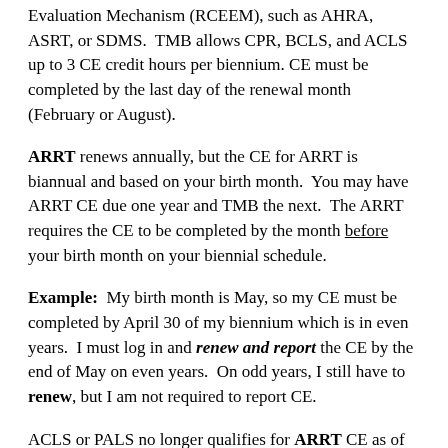Evaluation Mechanism (RCEEM), such as AHRA, ASRT, or SDMS. TMB allows CPR, BCLS, and ACLS up to 3 CE credit hours per biennium. CE must be completed by the last day of the renewal month (February or August).
ARRT renews annually, but the CE for ARRT is biannual and based on your birth month. You may have ARRT CE due one year and TMB the next. The ARRT requires the CE to be completed by the month before your birth month on your biennial schedule.
Example: My birth month is May, so my CE must be completed by April 30 of my biennium which is in even years. I must log in and renew and report the CE by the end of May on even years. On odd years, I still have to renew, but I am not required to report CE.
ACLS or PALS no longer qualifies for ARRT CE as of January 1, 2015. ARRT now requires...